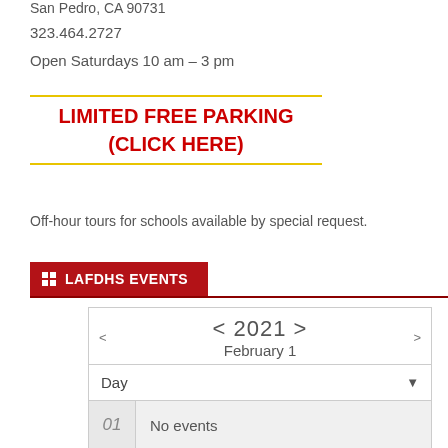San Pedro, CA 90731
323.464.2727
Open Saturdays 10 am – 3 pm
LIMITED FREE PARKING
(CLICK HERE)
Off-hour tours for schools available by special request.
LAFDHS EVENTS
| < 2021 > | February 1 |
| Day |  |
| 01 | No events |